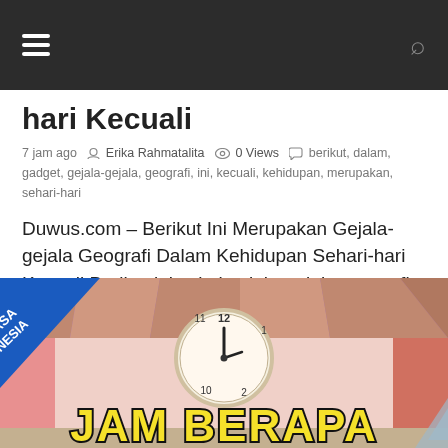☰  [search icon]
hari Kecuali
7 jam ago  Erika Rahmatalita  0 Views  berikut, dalam, gadget, gejala-gejala, geografi, ini, kecuali, kehidupan, merupakan, sehari-hari
Duwus.com – Berikut Ini Merupakan Gejala-gejala Geografi Dalam Kehidupan Sehari-hari Kecuali Berikut ini yakni gejala-gejala geografi kerumahtanggaan spirit sehari-hari, kecuali
[Figure (illustration): Illustration of a classroom with a clock showing near 12 o'clock, a blue diagonal banner reading BAHASA INDONESIA in the top-left corner, and large bold yellow text reading JAM BERAPA at the bottom. Cartoon-style image with purple ceiling and red/pink walls.]